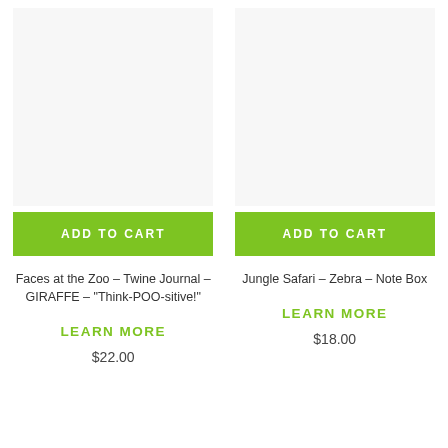[Figure (photo): Product image placeholder for Faces at the Zoo - Twine Journal - GIRAFFE]
[Figure (photo): Product image placeholder for Jungle Safari - Zebra - Note Box]
ADD TO CART
ADD TO CART
Faces at the Zoo – Twine Journal – GIRAFFE – "Think-POO-sitive!"
Jungle Safari – Zebra – Note Box
LEARN MORE
LEARN MORE
$22.00
$18.00